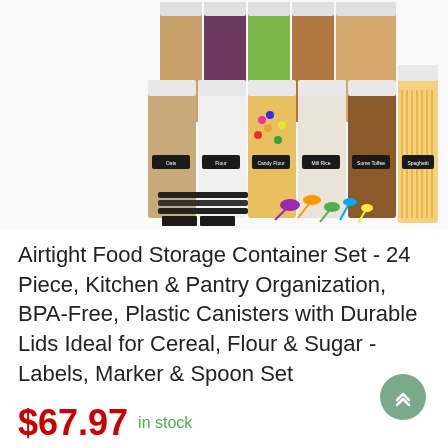[Figure (photo): A set of airtight food storage containers arranged in rows, showing various dry foods like grains, pasta, candy, and seeds inside clear plastic canisters with white lids. Black chalkboard labels are on the containers. In front are black markers, label stickers, and colorful measuring spoons.]
Airtight Food Storage Container Set - 24 Piece, Kitchen & Pantry Organization, BPA-Free, Plastic Canisters with Durable Lids Ideal for Cereal, Flour & Sugar - Labels, Marker & Spoon Set
$67.97  in stock